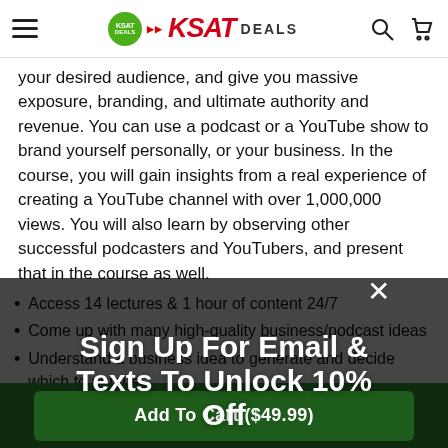KSAT DEALS navigation bar with hamburger menu, KSAT Deals logo, search and cart icons
your desired audience, and give you massive exposure, branding, and ultimate authority and revenue. You can use a podcast or a YouTube show to brand yourself personally, or your business. In the course, you will gain insights from a real experience of creating a YouTube channel with over 1,000,000 views. You will also learn by observing other successful podcasters and YouTubers, and present that in the course as well.
Access 14 lectures & 1 hour of content 24/7
Come up with many high-quality business/podcast ideas
Understand a business idea to generate and decide which to pursue
Gain confidence and clarity as an entrepreneur
Gain insights from a real experience of creating a YouTube
[Figure (screenshot): Sign Up For Email & Texts To Unlock 10% Off modal popup with Get Discount button and X close button, overlaid on dark background]
Add To Cart ($49.99)